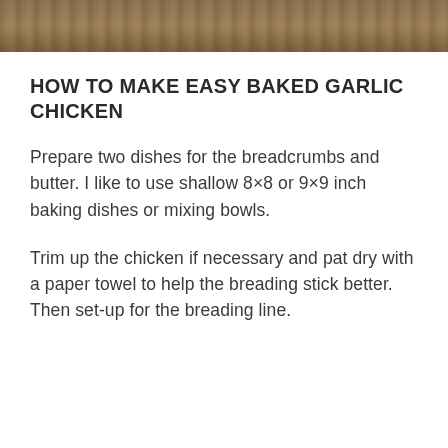[Figure (photo): Top strip showing a wooden surface / food photo cropped at the top of the page]
HOW TO MAKE EASY BAKED GARLIC CHICKEN
Prepare two dishes for the breadcrumbs and butter. I like to use shallow 8×8 or 9×9 inch baking dishes or mixing bowls.
Trim up the chicken if necessary and pat dry with a paper towel to help the breading stick better. Then set-up for the breading line.